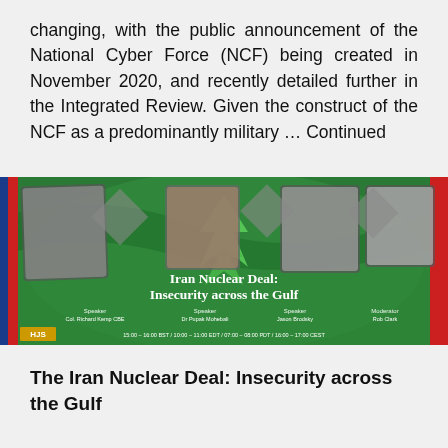changing, with the public announcement of the National Cyber Force (NCF) being created in November 2020, and recently detailed further in the Integrated Review. Given the construct of the NCF as a predominantly military … Continued
[Figure (photo): Banner image for HJS event 'Iran Nuclear Deal: Insecurity across the Gulf' featuring four speakers (Col. Richard Kemp CBE, Dr Pupak Mohebali, Jason Brodsky, Rob Clark) on a green background with diamond photo frames and the HJS logo. Time listed: 15:00-16:00 BST / 10:00-11:00 EDT / 07:00-08:00 PDT / 16:00-17:00 CEST]
The Iran Nuclear Deal: Insecurity across the Gulf